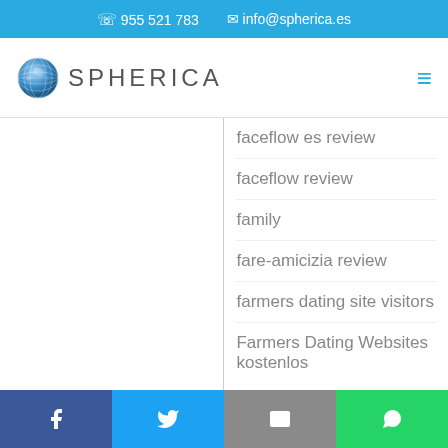☏ 955 521 783   ✉ info@spherica.es
[Figure (logo): Spherica globe logo with text SPHERICA]
faceflow es review
faceflow review
family
fare-amicizia review
farmers dating site visitors
Farmers Dating Websites kostenlos
Utilizamos cookies para asegurar que damos la mejor experiencia al usuario en nuestro sitio web. Si continúa utilizando este sitio asumiremos que está de acuerdo.
Facebook | Twitter | Email | WhatsApp